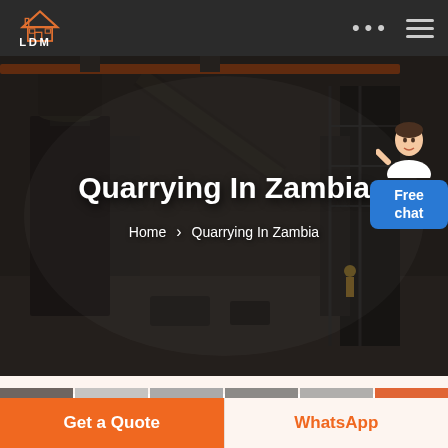LDM — navigation bar with logo, dots menu, hamburger menu
[Figure (screenshot): Industrial machinery/factory interior hero image with dark overlay showing large industrial equipment, ducts, and scaffolding. A worker visible in background.]
Quarrying In Zambia
Home > Quarrying In Zambia
[Figure (photo): Free chat widget with female customer service representative avatar and blue 'Free chat' button]
[Figure (photo): Thumbnail strip of product images partially visible at bottom of hero section]
Get a Quote
WhatsApp